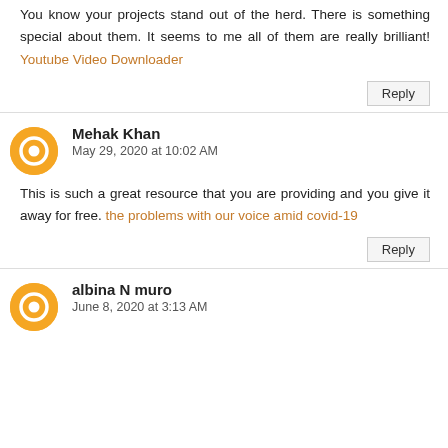You know your projects stand out of the herd. There is something special about them. It seems to me all of them are really brilliant! Youtube Video Downloader
Reply
Mehak Khan
May 29, 2020 at 10:02 AM
This is such a great resource that you are providing and you give it away for free. the problems with our voice amid covid-19
Reply
albina N muro
June 8, 2020 at 3:13 AM